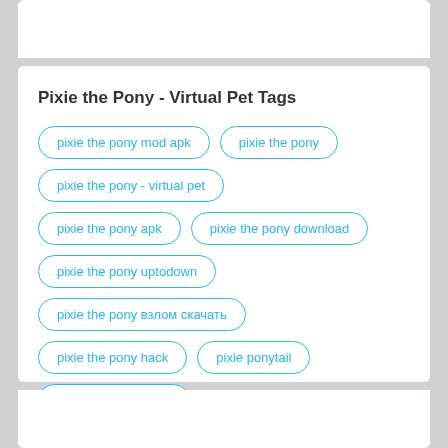Pixie the Pony - Virtual Pet Tags
pixie the pony mod apk
pixie the pony
pixie the pony - virtual pet
pixie the pony apk
pixie the pony download
pixie the pony uptodown
pixie the pony взлом скачать
pixie the pony hack
pixie ponytail
pixie ponytail braids